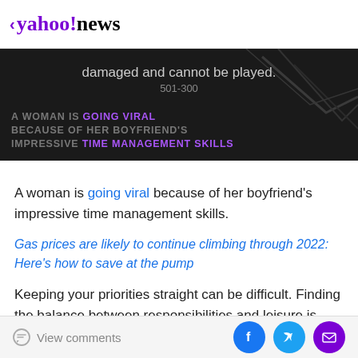< yahoo!news
[Figure (screenshot): Dark video banner showing error text 'damaged and cannot be played.' with error code '501-300' and overlay text 'A WOMAN IS GOING VIRAL BECAUSE OF HER BOYFRIEND'S IMPRESSIVE TIME MANAGEMENT SKILLS' in gray and purple uppercase letters on dark background with decorative line graphics on the right]
A woman is going viral because of her boyfriend's impressive time management skills.
Gas prices are likely to continue climbing through 2022: Here's how to save at the pump
Keeping your priorities straight can be difficult. Finding the balance between responsibilities and leisure is every adult's great battle. But TikToker Tess O'Neill wondered if
View comments  [Facebook] [Twitter] [Email]